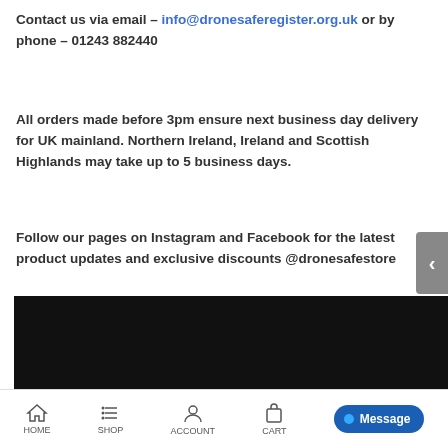Contact us via email – info@dronesaferegister.org.uk or by phone – 01243 882440
All orders made before 3pm ensure next business day delivery for UK mainland. Northern Ireland, Ireland and Scottish Highlands may take up to 5 business days.
Follow our pages on Instagram and Facebook for the latest product updates and exclusive discounts @dronesafestore
[Figure (other): Dark/black image section (product image or video, content not visible)]
HOME  SHOP  ACCOUNT  CART  Message